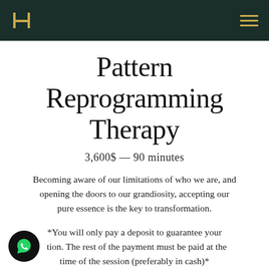H [logo] | [hamburger menu]
Pattern Reprogramming Therapy
3,600$ — 90 minutes
Becoming aware of our limitations of who we are, and opening the doors to our grandiosity, accepting our pure essence is the key to transformation.
*You will only pay a deposit to guarantee your [reser]vation. The rest of the payment must be paid at the time of the session (preferably in cash)*